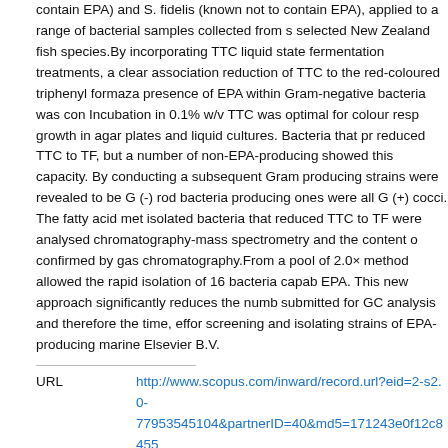contain EPA) and S. fidelis (known not to contain EPA), applied to a range of bacterial samples collected from selected New Zealand fish species.By incorporating TTC liquid state fermentation treatments, a clear association reduction of TTC to the red-coloured triphenyl formazan presence of EPA within Gram-negative bacteria was confirmed. Incubation in 0.1% w/v TTC was optimal for colour response growth in agar plates and liquid cultures. Bacteria that produced reduced TTC to TF, but a number of non-EPA-producing showed this capacity. By conducting a subsequent Gram stain, EPA-producing strains were revealed to be G (-) rod bacteria and non-producing ones were all G (+) cocci. The fatty acid methyl esters of isolated bacteria that reduced TTC to TF were analysed by gas chromatography-mass spectrometry and the content confirmed by gas chromatography.From a pool of 2.0× method allowed the rapid isolation of 16 bacteria capable of producing EPA. This new approach significantly reduces the number of samples submitted for GC analysis and therefore the time, effort and cost of screening and isolating strains of EPA-producing marine bacteria. Elsevier B.V.
URL http://www.scopus.com/inward/record.url?eid=2-s2.0-77953545104&partnerID=40&md5=171243e0f12c8455